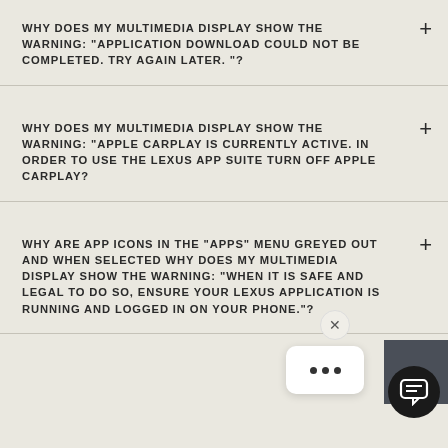WHY DOES MY MULTIMEDIA DISPLAY SHOW THE WARNING: "APPLICATION DOWNLOAD COULD NOT BE COMPLETED. TRY AGAIN LATER. "?
WHY DOES MY MULTIMEDIA DISPLAY SHOW THE WARNING: "APPLE CARPLAY IS CURRENTLY ACTIVE. IN ORDER TO USE THE LEXUS APP SUITE TURN OFF APPLE CARPLAY?
WHY ARE APP ICONS IN THE "APPS" MENU GREYED OUT AND WHEN SELECTED WHY DOES MY MULTIMEDIA DISPLAY SHOW THE WARNING: "WHEN IT IS SAFE AND LEGAL TO DO SO, ENSURE YOUR LEXUS APPLICATION IS RUNNING AND LOGGED IN ON YOUR PHONE."?